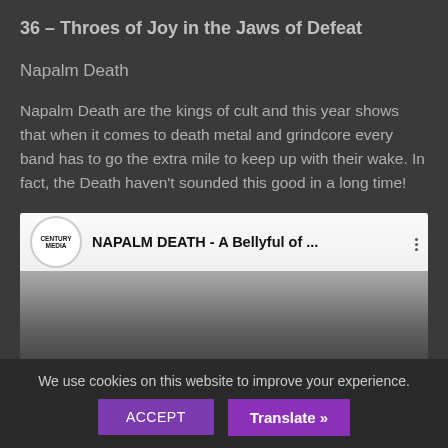36 – Throes of Joy in the Jaws of Defeat
Napalm Death
Napalm Death are the kings of cult and this year shows that when it comes to death metal and grindcore every band has to go the extra mile to keep up with their wake. In fact, the Death haven't sounded this good in a long time!
[Figure (screenshot): YouTube video embed thumbnail showing Century Media channel logo and video title 'NAPALM DEATH - A Bellyful of ...' with a dark/grayscale image of people in the background]
We use cookies on this website to improve your experience.
ACCEPT
Translate »